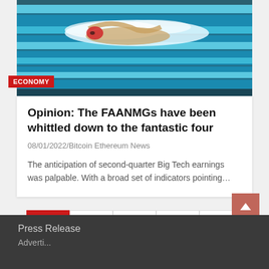[Figure (photo): Swimmer in a swimming pool seen from above, lanes visible with blue water, person swimming freestyle.]
Opinion: The FAANMGs have been whittled down to the fantastic four
08/01/2022/Bitcoin Ethereum News
The anticipation of second-quarter Big Tech earnings was palpable. With a broad set of indicators pointing…
1  2  ...  20  Next
Press Release
Adverti...